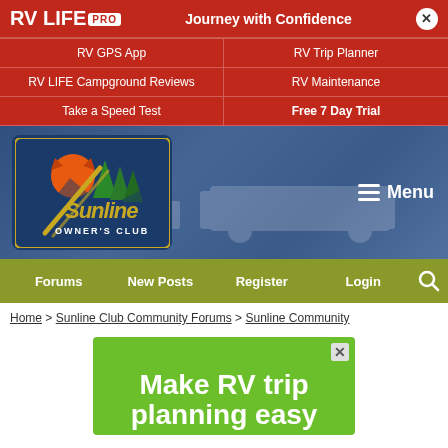[Figure (screenshot): RV LIFE PRO promotional banner with navigation links]
[Figure (logo): Sunline Owner's Club logo on dark blue background with sun and pine trees]
Menu
Forums | New Posts | Register | Login
Home > Sunline Club Community Forums > Sunline Community
[Figure (infographic): Green advertisement banner reading: Make RV trip planning easy]